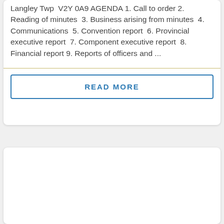Langley Twp  V2Y 0A9 AGENDA 1. Call to order 2. Reading of minutes  3. Business arising from minutes  4. Communications  5. Convention report  6. Provincial executive report  7. Component executive report  8. Financial report 9. Reports of officers and ...
READ MORE